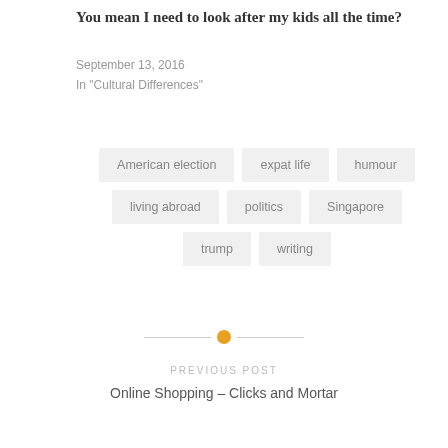You mean I need to look after my kids all the time?
September 13, 2016
In "Cultural Differences"
American election
expat life
humour
living abroad
politics
Singapore
trump
writing
PREVIOUS POST
Online Shopping – Clicks and Mortar